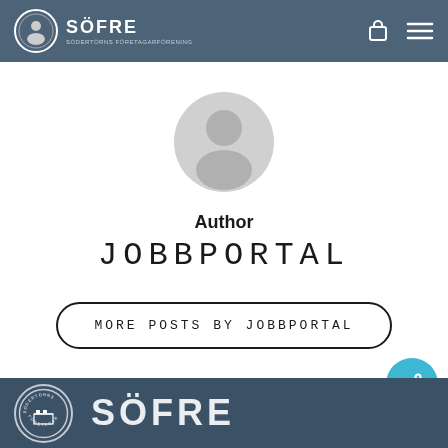SÖFRE
[Figure (illustration): Generic user avatar icon — grey circle with person silhouette]
Author
JOBBPORTAL
MORE POSTS BY JOBBPORTAL
[Figure (logo): Södertörns circle badge logo and SÖFRE text in footer dark bar]